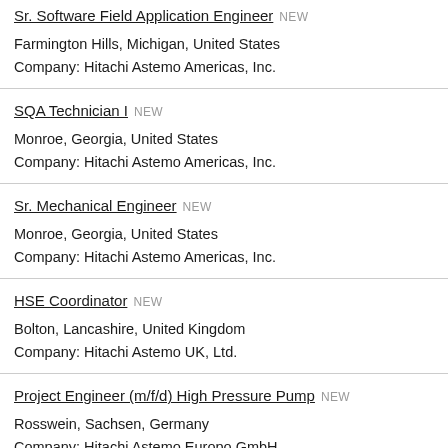Sr. Software Field Application Engineer NEW
Farmington Hills, Michigan, United States
Company: Hitachi Astemo Americas, Inc.
SQA Technician I NEW
Monroe, Georgia, United States
Company: Hitachi Astemo Americas, Inc.
Sr. Mechanical Engineer NEW
Monroe, Georgia, United States
Company: Hitachi Astemo Americas, Inc.
HSE Coordinator NEW
Bolton, Lancashire, United Kingdom
Company: Hitachi Astemo UK, Ltd.
Project Engineer (m/f/d) High Pressure Pump NEW
Rosswein, Sachsen, Germany
Company: Hitachi Astemo Europo GmbH